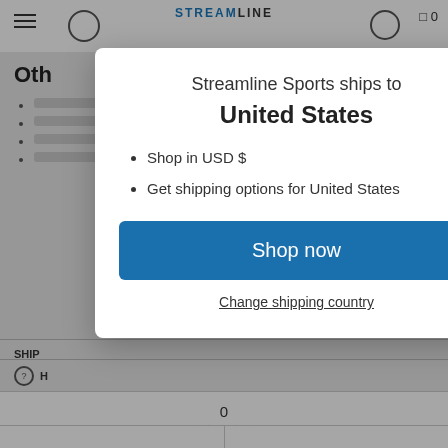Streamline Sports — navigation header
Oth
Streamline Sports ships to United States
Shop in USD $
Get shipping options for United States
Shop now
Change shipping country